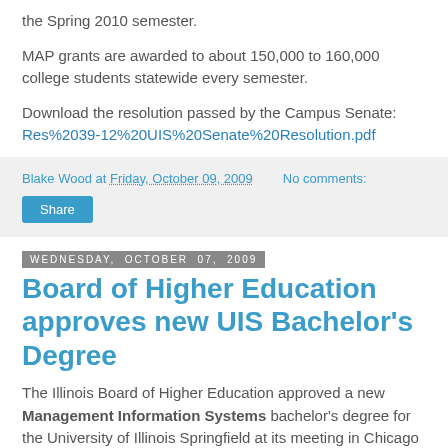the Spring 2010 semester.
MAP grants are awarded to about 150,000 to 160,000 college students statewide every semester.
Download the resolution passed by the Campus Senate: Res%2039-12%20UIS%20Senate%20Resolution.pdf
Blake Wood at Friday, October 09, 2009   No comments:
Share
Wednesday, October 07, 2009
Board of Higher Education approves new UIS Bachelor's Degree
The Illinois Board of Higher Education approved a new Management Information Systems bachelor's degree for the University of Illinois Springfield at its meeting in Chicago on Tuesday.